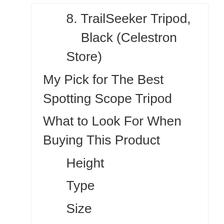8. TrailSeeker Tripod, Black (Celestron Store)
My Pick for The Best Spotting Scope Tripod
What to Look For When Buying This Product
Height
Type
Size
Price
Feedback